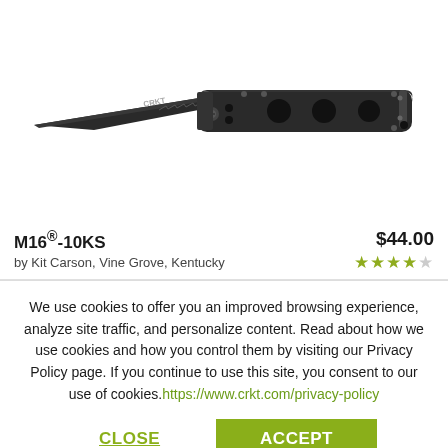[Figure (photo): CRKT M16-10KS folding knife with black tanto blade and black handle with circular cutouts, brand name CRKT visible on blade]
M16®-10KS
by Kit Carson, Vine Grove, Kentucky
$44.00
★★★★☆
We use cookies to offer you an improved browsing experience, analyze site traffic, and personalize content. Read about how we use cookies and how you control them by visiting our Privacy Policy page. If you continue to use this site, you consent to our use of cookies.https://www.crkt.com/privacy-policy
CLOSE
ACCEPT